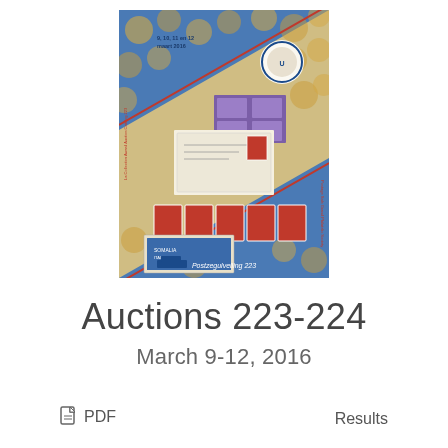[Figure (illustration): Cover image of auction catalog 223, showing a collection of postage stamps arranged on a blue and diagonal cream/gold patterned background. Text reads '9, 10, 11 en 12 maart 2016' and 'Postzegulveiling 223'.]
Auctions 223-224
March 9-12, 2016
PDF
Results